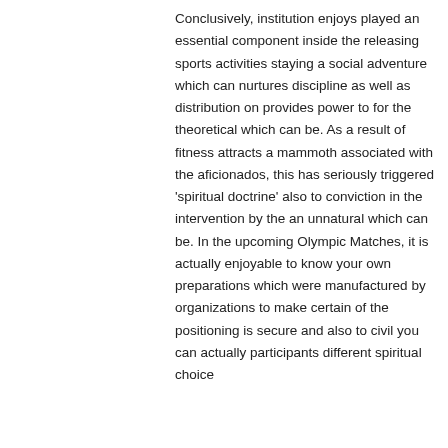Conclusively, institution enjoys played an essential component inside the releasing sports activities staying a social adventure which can nurtures discipline as well as distribution on provides power to for the theoretical which can be. As a result of fitness attracts a mammoth associated with the aficionados, this has seriously triggered 'spiritual doctrine' also to conviction in the intervention by the an unnatural which can be. In the upcoming Olympic Matches, it is actually enjoyable to know your own preparations which were manufactured by organizations to make certain of the positioning is secure and also to civil you can actually participants different spiritual choice